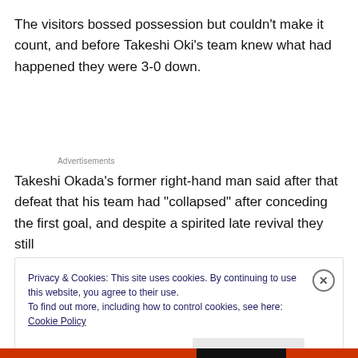The visitors bossed possession but couldn’t make it count, and before Takeshi Oki’s team knew what had happened they were 3-0 down.
Advertisements
Takeshi Okada’s former right-hand man said after that defeat that his team had “collapsed” after conceding the first goal, and despite a spirited late revival they still
Privacy & Cookies: This site uses cookies. By continuing to use this website, you agree to their use.
To find out more, including how to control cookies, see here: Cookie Policy
Close and accept